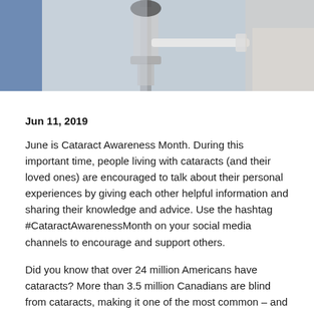[Figure (photo): Medical eye examination equipment with a patient and clinician visible in the background, showing slit lamp or optical diagnostic device.]
Jun 11, 2019
June is Cataract Awareness Month. During this important time, people living with cataracts (and their loved ones) are encouraged to talk about their personal experiences by giving each other helpful information and sharing their knowledge and advice. Use the hashtag #CataractAwarenessMonth on your social media channels to encourage and support others.
Did you know that over 24 million Americans have cataracts? More than 3.5 million Canadians are blind from cataracts, making it one of the most common – and serious – eye conditions today. Dr. Raschel Zeschuk treats cataract patients from all over Lloydminster, Saskatchewan with the newest and most effective methods of eye care.
With millions of people living with the condition, it's now more